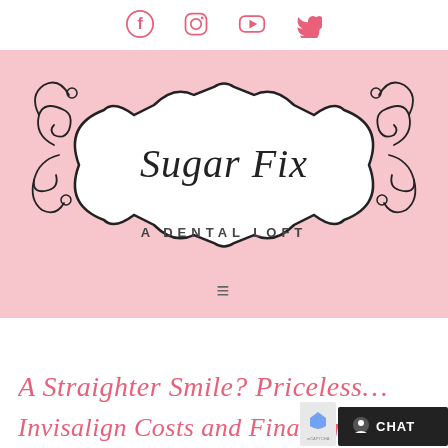[Figure (logo): Social media icons bar: Facebook, Instagram, YouTube, Twitter in pink]
[Figure (logo): Sugar Fix A Dental Loft logo on pink background with ornate scrollwork frame and hamburger menu icon]
A Straighter Smile? Priceless… Invisalign Costs and Financing